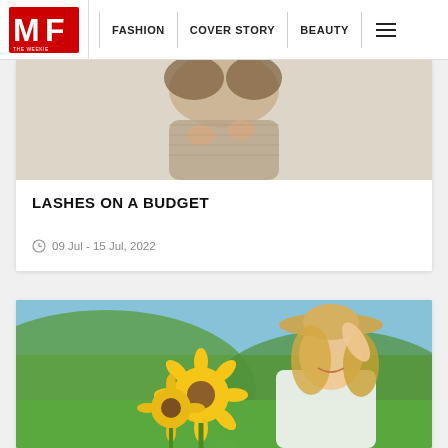MF THE WEEKIE | FASHION | COVER STORY | BEAUTY
[Figure (photo): Woman in a cozy knit sweater holding her hands together, shown from waist up against a light background]
LASHES ON A BUDGET
09 Jul - 15 Jul, 2022
[Figure (photo): Smiling blonde woman in a straw hat holding sunflowers in a green field on a sunny day]